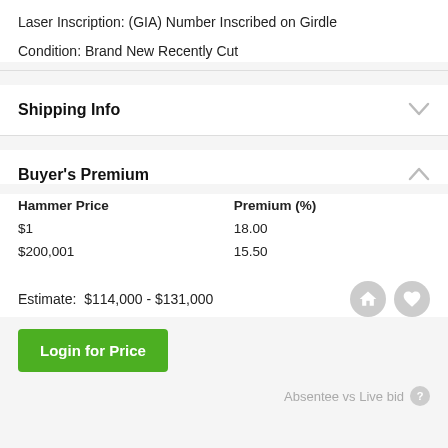Laser Inscription: (GIA) Number Inscribed on Girdle
Condition: Brand New Recently Cut
Shipping Info
Buyer's Premium
| Hammer Price | Premium (%) |
| --- | --- |
| $1 | 18.00 |
| $200,001 | 15.50 |
Estimate:  $114,000 - $131,000
Login for Price
Absentee vs Live bid